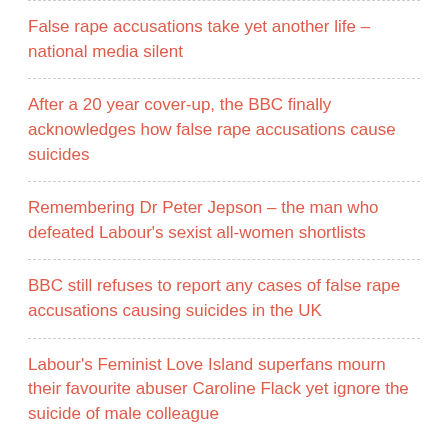False rape accusations take yet another life – national media silent
After a 20 year cover-up, the BBC finally acknowledges how false rape accusations cause suicides
Remembering Dr Peter Jepson – the man who defeated Labour's sexist all-women shortlists
BBC still refuses to report any cases of false rape accusations causing suicides in the UK
Labour's Feminist Love Island superfans mourn their favourite abuser Caroline Flack yet ignore the suicide of male colleague